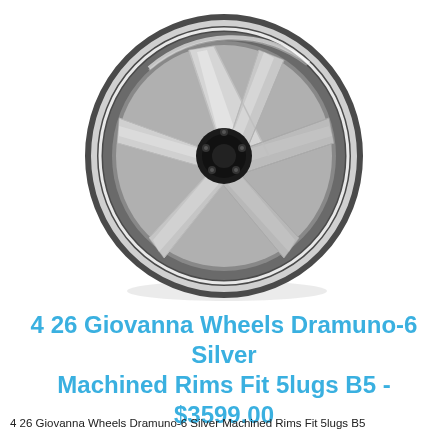[Figure (photo): A silver machined automotive wheel/rim (Giovanna Dramuno-6) with 6 spokes, photographed at an angle on a white background. The wheel has a dark gunmetal inner barrel and polished silver machined spoke faces.]
4 26 Giovanna Wheels Dramuno-6 Silver Machined Rims Fit 5lugs B5 - $3599.00
4 26 Giovanna Wheels Dramuno-6 Silver Machined Rims Fit 5lugs B5